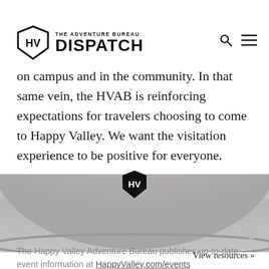THE ADVENTURE BUREAU DISPATCH
also taken extraordinary steps to keep students safe, ...campaign that encourages ...to wear masks and take safety measures seriously while on campus and in the community. In that same vein, the HVAB is reinforcing expectations for travelers choosing to come to Happy Valley. We want the visitation experience to be positive for everyone.
[Figure (photo): A domed metallic object photographed from above, with an HV keystone logo badge centered on it, on a white background.]
The Happy Valley Adventure Bureau publishes up-to-date event information at HappyValley.com/events
View resources »